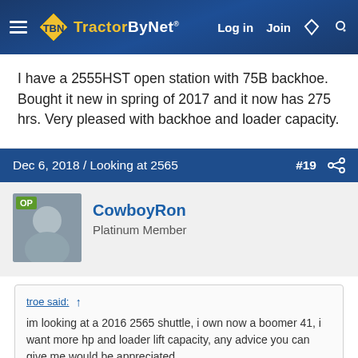TractorByNet | Log in | Join
I have a 2555HST open station with 75B backhoe. Bought it new in spring of 2017 and it now has 275 hrs. Very pleased with backhoe and loader capacity.
Dec 6, 2018 / Looking at 2565 #19
CowboyRon
Platinum Member
troe said:
im looking at a 2016 2565 shuttle, i own now a boomer 41, i want more hp and loader lift capacity, any advice you can give me would be appreciated,